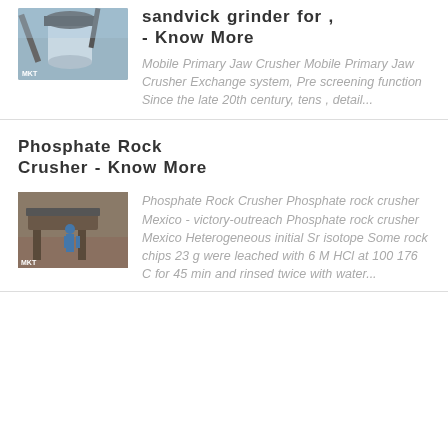sandvick grinder for , - Know More
[Figure (photo): Industrial crusher or grinder machine outdoors]
Mobile Primary Jaw Crusher Mobile Primary Jaw Crusher Exchange system, Pre screening function Since the late 20th century, tens , detail...
Phosphate Rock Crusher - Know More
[Figure (photo): Phosphate rock crusher equipment with worker]
Phosphate Rock Crusher Phosphate rock crusher Mexico - victory-outreach Phosphate rock crusher Mexico Heterogeneous initial Sr isotope Some rock chips 23 g were leached with 6 M HCl at 100 176 C for 45 min and rinsed twice with water...